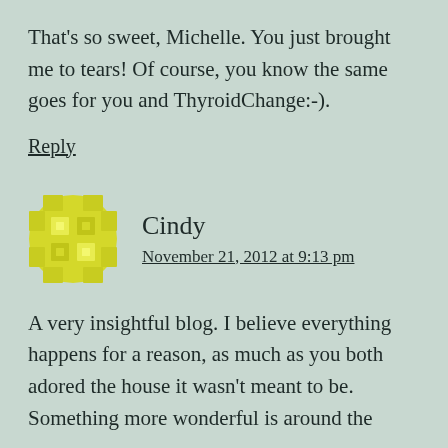That's so sweet, Michelle. You just brought me to tears! Of course, you know the same goes for you and ThyroidChange:-).
Reply
Cindy
November 21, 2012 at 9:13 pm
A very insightful blog. I believe everything happens for a reason, as much as you both adored the house it wasn't meant to be. Something more wonderful is around the